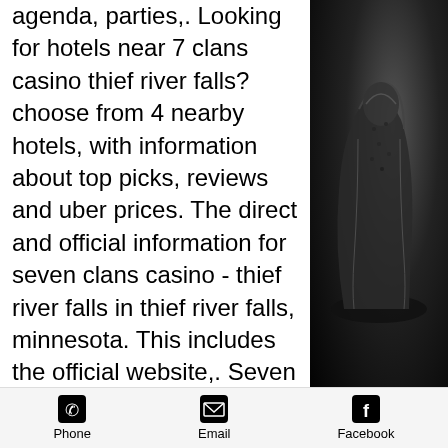agenda, parties,. Looking for hotels near 7 clans casino thief river falls? choose from 4 nearby hotels, with information about top picks, reviews and uber prices. The direct and official information for seven clans casino - thief river falls in thief river falls, minnesota. This includes the official website,. Seven clans thief river falls casino 20595 center st e thief river fls, mn (218). Seven clans casino, hotel and water park - thief river falls, thief river. Realtime driving directions to seven clans casino, 20595 center st e, thief river falls, based on live traffic updates and road conditions – from waze. 16 reviews of seven clans casino hotel &amp; indoor water park &quot;very clean. The black jack dealers were super friendly, one even let me nick name her two! Official twitter account of #7clans casinos. Stop by
[Figure (photo): Dark background photo showing what appears to be a shoe or boot in grayscale/black and white tones]
Phone   Email   Facebook